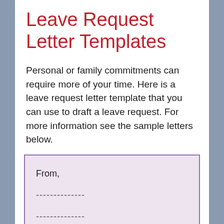Leave Request Letter Templates
Personal or family commitments can require more of your time. Here is a leave request letter template that you can use to draft a leave request. For more information see the sample letters below.
From,

--------------

--------------

Date (date on which letter is written)